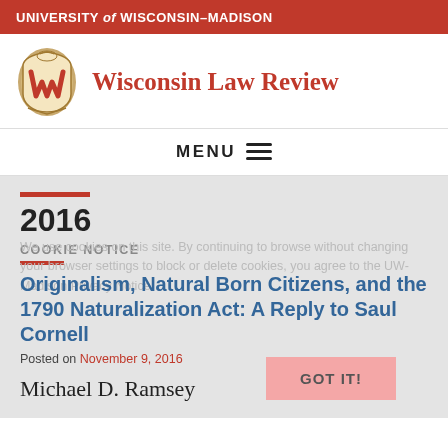UNIVERSITY of WISCONSIN–MADISON
Wisconsin Law Review
MENU
2016
COOKIE NOTICE
We use cookies on this site. By continuing to browse without changing your browser settings to block or delete cookies, you agree to the UW-Madison Privacy Notice.
Originalism, Natural Born Citizens, and the 1790 Naturalization Act: A Reply to Saul Cornell
Posted on November 9, 2016
Michael D. Ramsey
GOT IT!